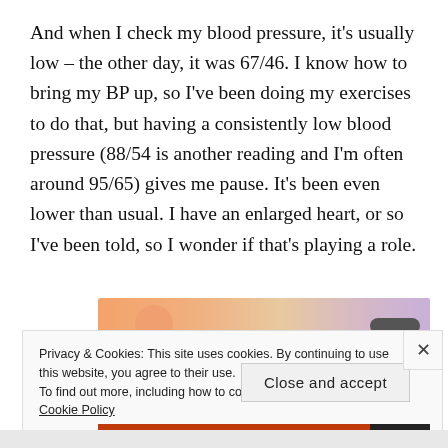And when I check my blood pressure, it's usually low – the other day, it was 67/46. I know how to bring my BP up, so I've been doing my exercises to do that, but having a consistently low blood pressure (88/54 is another reading and I'm often around 95/65) gives me pause. It's been even lower than usual. I have an enlarged heart, or so I've been told, so I wonder if that's playing a role.
[Figure (illustration): Partial view of a colorful illustration strip with orange and purple tones, partially obscured by cookie banner]
Privacy & Cookies: This site uses cookies. By continuing to use this website, you agree to their use.
To find out more, including how to control cookies, see here: Cookie Policy
Close and accept